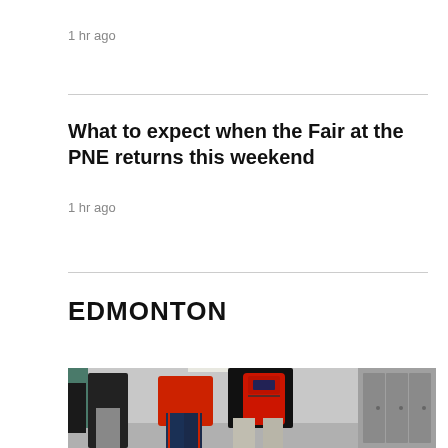1 hr ago
What to expect when the Fair at the PNE returns this weekend
1 hr ago
EDMONTON
[Figure (photo): Students standing in a school hallway. One student wears a red sweater and jeans, another wears a black jacket with a red JanSport backpack. School lockers are visible on the right.]